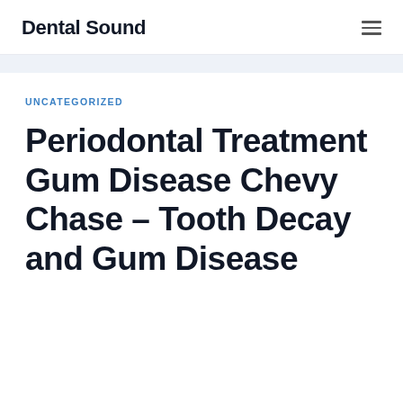Dental Sound
UNCATEGORIZED
Periodontal Treatment Gum Disease Chevy Chase – Tooth Decay and Gum Disease